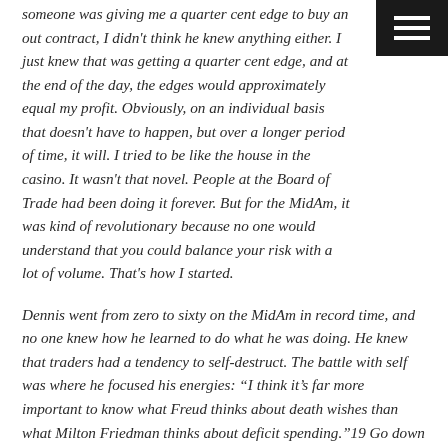someone was giving me a quarter cent edge to buy an out contract, I didn't think he knew anything either. I just knew that was getting a quarter cent edge, and at the end of the day, the edges would approximately equal my profit. Obviously, on an individual basis that doesn't have to happen, but over a longer period of time, it will. I tried to be like the house in the casino. It wasn't that novel. People at the Board of Trade had been doing it forever. But for the MidAm, it was kind of revolutionary because no one would understand that you could balance your risk with a lot of volume. That's how I started.
Dennis went from zero to sixty on the MidAm in record time, and no one knew how he learned to do what he was doing. He knew that traders had a tendency to self-destruct. The battle with self was where he focused his energies: “I think it’s far more important to know what Freud thinks about death wishes than what Milton Friedman thinks about deficit spending.”19 Go down to Wall Street today after work with the hotshot traders all earning $500,000 a year at the big banks and you’ll find very few who talk about Freud being the ticket to making millions.
However, trading was harder than Dennis let on. The early ups and downs took a toll on him, but he learned the hard lessons within